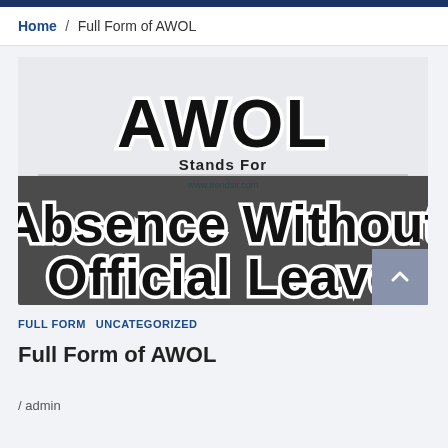Home / Full Form of AWOL
[Figure (infographic): Infographic image showing 'AWOL Stands For Absence Without Official Leave' with large bold text on a gray background, with watermark www.trendsir.com]
FULL FORM   UNCATEGORIZED
Full Form of AWOL
/ admin